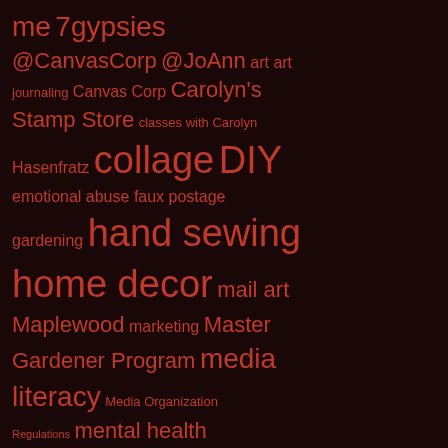me 7gypsies @CanvasCorp @JoAnn art art journaling Canvas Corp Carolyn's Stamp Store classes with Carolyn Hasenfratz collage DIY emotional abuse faux postage gardening hand sewing home decor mail art Maplewood marketing Master Gardener Program media literacy Media Organization Regulations mental health Missouri mixed media mixed media art MO organic gardening paper crafts Route 66 rubber stamping Schnarr's Blog